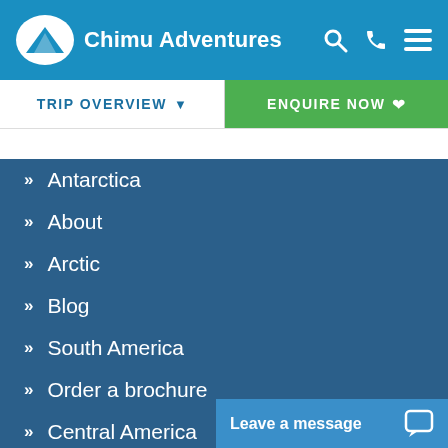Chimu Adventures
TRIP OVERVIEW
ENQUIRE NOW
Antarctica
About
Arctic
Blog
South America
Order a brochure
Central America
Contact Us
Leave a message